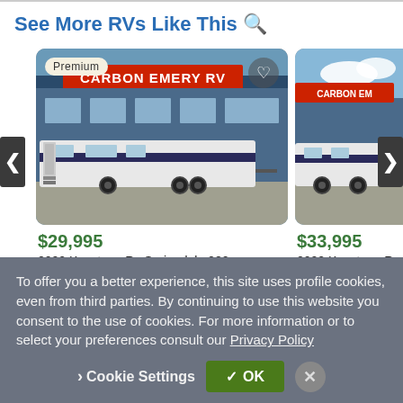See More RVs Like This 🔍
[Figure (photo): Photo of a white travel trailer RV parked in front of Carbon Emery RV dealership building with red signage. A 'Premium' badge is shown in the upper left corner and a heart icon in the upper right.]
$29,995
2022 Keystone Rv Springdale 282...
[Figure (photo): Partial photo of a white travel trailer RV parked at Carbon Emery RV dealership, partially visible on right side of screen.]
$33,995
2022 Keystone R
To offer you a better experience, this site uses profile cookies, even from third parties. By continuing to use this website you consent to the use of cookies. For more information or to select your preferences consult our Privacy Policy
Cookie Settings
✓ OK